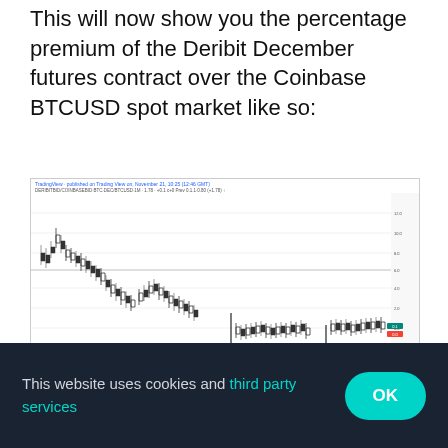This will now show you the percentage premium of the Deribit December futures contract over the Coinbase BTCUSD spot market like so:
[Figure (continuous-plot): TradingView candlestick/line chart showing the percentage premium of the Deribit December futures contract over Coinbase BTCUSD spot market. The chart shows data from approximately July through November, with values ranging from positive (around 12) to deeply negative (around -24), with two notable vertical drops to around -20 and -24 in later months. A horizontal line marks the zero level. Published on TradingView on November 21.]
Created with TradingView
You can of course substitute any exchange that
This website uses cookies and third party services